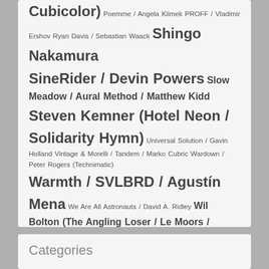Cubicolor) Poemme / Angela Klimek PROFF / Vladimir Ershov Ryan Davis / Sebastian Waack Shingo Nakamura SineRider / Devin Powers Slow Meadow / Aural Method / Matthew Kidd Steven Kemner (Hotel Neon / Solidarity Hymn) Universal Solution / Gavin Holland Vintage & Morelli / Tandem / Marko Cubric Wardown / Peter Rogers (Technimatic) Warmth / SVLBRD / Agustín Mena We Are All Astronauts / David A. Ridley Wil Bolton (The Angling Loser / Le Moors / Ashlar) Yotto / Tuskana / Otto Yliperttula (Something Good) Ólafur Arnalds (Kiasmos)
Categories